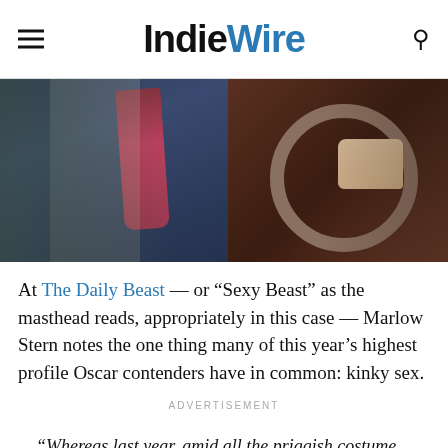IndieWire
[Figure (photo): A man in a dark navy suit with a pink/red tie sitting in a vintage car, hand on the steering wheel, photographed from the side. Green foliage visible in background.]
At The Daily Beast — or “Sexy Beast” as the masthead reads, appropriately in this case — Marlow Stern notes the one thing many of this year’s highest profile Oscar contenders have in common: kinky sex.
ADVERTISEMENT
“Whereas last year, amid all the priggish costume dramas, the only film during awards season that got